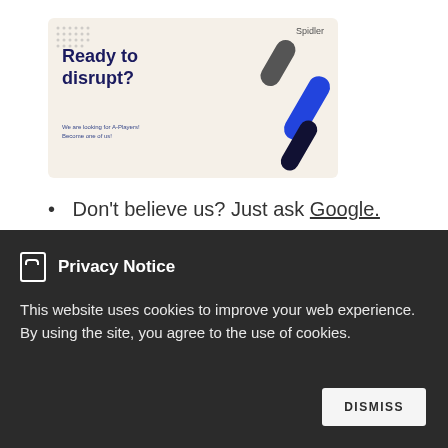[Figure (illustration): Promotional banner with dark blue bold text 'Ready to disrupt?' on a beige/cream background with decorative pill/capsule shapes in grey, blue, and dark navy. Small 'Spidler' logo in top right corner. Small dotted grid pattern in top left. Small subtitle text below the heading.]
Don't believe us? Just ask Google.
Was this position made for you?
So let's talk! We're curious bugs and can't wait to get to know you.
Privacy Notice
This website uses cookies to improve your web experience. By using the site, you agree to the use of cookies.